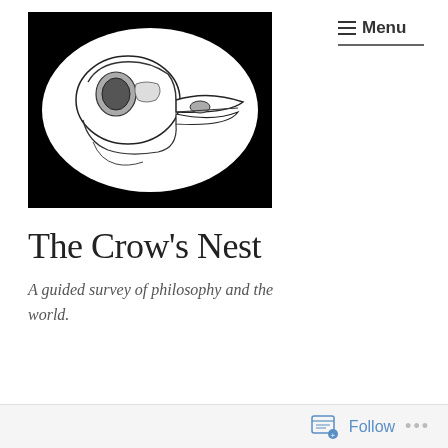[Figure (illustration): Black and white illustration of a crow skull in profile view, drawn in detailed ink style, set within a white oval on a black rectangular background.]
The Crow's Nest
A guided survey of philosophy and the world.
☰ Menu  Follow  •••